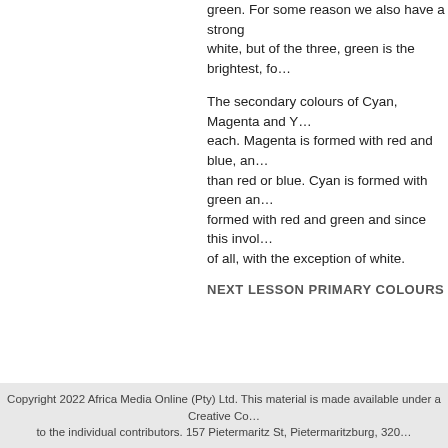green. For some reason we also have a strong response to green. For some reason we also have a strong white, but of the three, green is the brightest, fo...
The secondary colours of Cyan, Magenta and Y... each. Magenta is formed with red and blue, an... than red or blue. Cyan is formed with green an... formed with red and green and since this invol... of all, with the exception of white.
NEXT LESSON PRIMARY COLOURS
Up to Color and Light
Back to Lesson Plan
On to Primary Colours
Copyright 2022 Africa Media Online (Pty) Ltd. This material is made available under a Creative Co... to the individual contributors. 157 Pietermaritz St, Pietermaritzburg, 320...